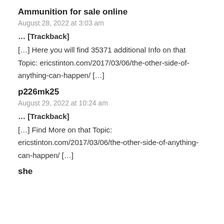Ammunition for sale online
August 28, 2022 at 3:03 am
… [Trackback]
[…] Here you will find 35371 additional Info on that Topic: ericstinton.com/2017/03/06/the-other-side-of-anything-can-happen/ […]
p226mk25
August 29, 2022 at 10:24 am
… [Trackback]
[…] Find More on that Topic: ericstinton.com/2017/03/06/the-other-side-of-anything-can-happen/ […]
she